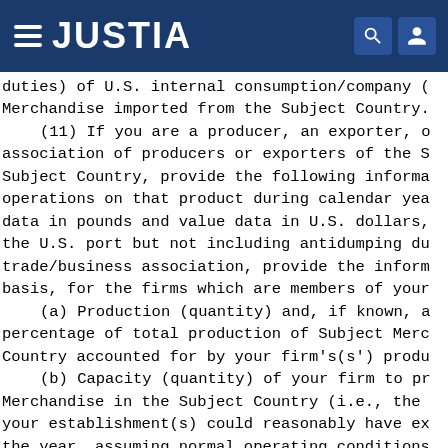JUSTIA
duties) of U.S. internal consumption/company (Merchandise imported from the Subject Country.
(11) If you are a producer, an exporter, or association of producers or exporters of the S Subject Country, provide the following informa operations on that product during calendar yea data in pounds and value data in U.S. dollars, the U.S. port but not including antidumping du trade/business association, provide the inform basis, for the firms which are members of your
(a) Production (quantity) and, if known, a percentage of total production of Subject Merc Country accounted for by your firm's(s') produ
(b) Capacity (quantity) of your firm to pr Merchandise in the Subject Country (i.e., the your establishment(s) could reasonably have ex the year, assuming normal operating conditions